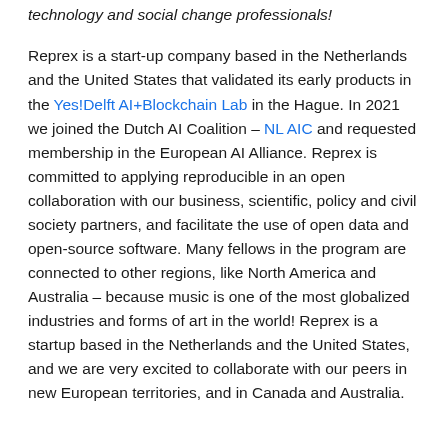technology and social change professionals!
Reprex is a start-up company based in the Netherlands and the United States that validated its early products in the Yes!Delft AI+Blockchain Lab in the Hague. In 2021 we joined the Dutch AI Coalition – NL AIC and requested membership in the European AI Alliance. Reprex is committed to applying reproducible in an open collaboration with our business, scientific, policy and civil society partners, and facilitate the use of open data and open-source software. Many fellows in the program are connected to other regions, like North America and Australia – because music is one of the most globalized industries and forms of art in the world! Reprex is a startup based in the Netherlands and the United States, and we are very excited to collaborate with our peers in new European territories, and in Canada and Australia.